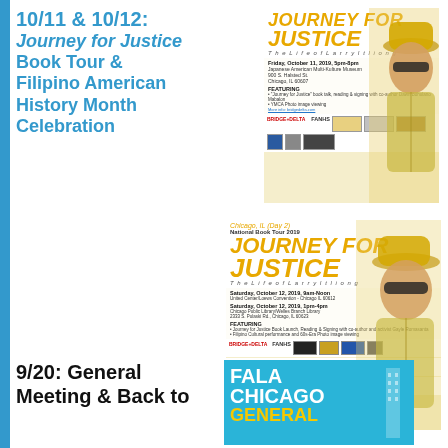10/11 & 10/12: Journey for Justice Book Tour & Filipino American History Month Celebration
[Figure (illustration): Event poster for Journey for Justice: The Life of Larry Itliong - Friday, October 11, 2019, 5pm-8pm at Japanese American Multi-Kulture Museum, 900 S. Halsted St., Chicago, IL 60607. Featuring Journey for Justice book talk, reading & signing with co-author Dawn Bohulano Mabalon, YMCA Photo image viewing. Features illustration of Larry Itliong and logos for Bridge-Delta, FANHS, Little Manila, and other sponsors.]
[Figure (illustration): Event poster for Journey for Justice: The Life of Larry Itliong - Chicago, IL (Day 2), National Book Tour 2019. Saturday, October 12, 2019, 9am-Noon and 1pm-4pm at Chicago Pubic Library/Welles Branch Library and other location. Featuring Journey for Justice Book Launch, Reading & Signing with co-author and activist Gayle Romasanta, Filipino Cultural performance and 60s-Era Photo Image viewing. Sponsors include FANHS, Bridge-Delta, APALA, Ink to Film, PCC, AFPB Chicago and others.]
9/20: General Meeting & Back to
[Figure (illustration): FALA Chicago General Meeting event flyer with cyan/teal background and white/yellow text showing FALA CHICAGO GENERAL with a building graphic.]